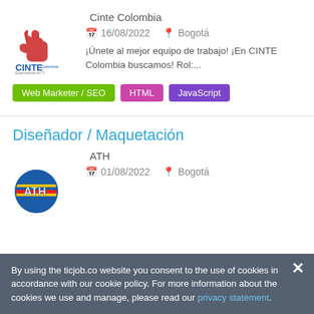Cinte Colombia
[Figure (logo): CINTE Colombia company logo with red hand and blue text]
16/08/2022   Bogotá
¡Únete al mejor equipo de trabajo! ¡En CINTE Colombia buscamos! Rol:...
Web Marketer / SEO
HTML
JavaScript
Diseñador / Maquetación
ATH
[Figure (logo): ATH company logo — globe with red and yellow stripes and ATH text]
01/08/2022   Bogotá
By using the ticjob.co website you consent to the use of cookies in accordance with our cookie policy. For more information about the cookies we use and manage, please read our privacy statement.